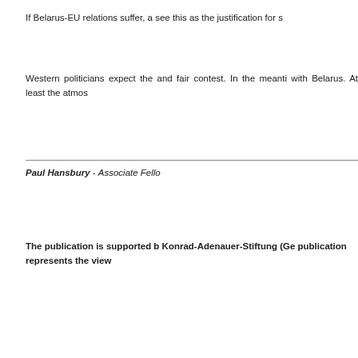If Belarus-EU relations suffer, a see this as the justification for s
Western politicians expect the and fair contest. In the meanti with Belarus. At least the atmos
Paul Hansbury - Associate Fello
The publication is supported b Konrad-Adenauer-Stiftung (Ge publication represents the view